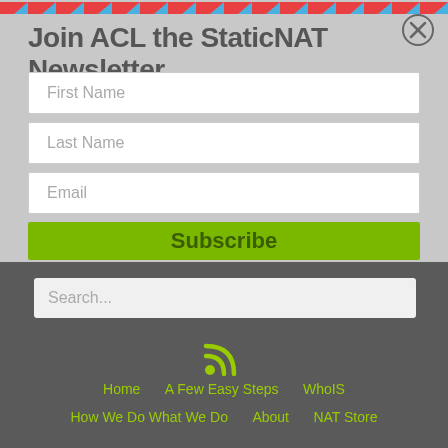Join ACL the StaticNAT Newsletter
First Name
Last Name
Email
Subscribe
Search...
[Figure (illustration): RSS feed icon in olive/yellow-green color]
Home    A Few Easy Steps    WhoIS
How We Do What We Do    About    NAT Store